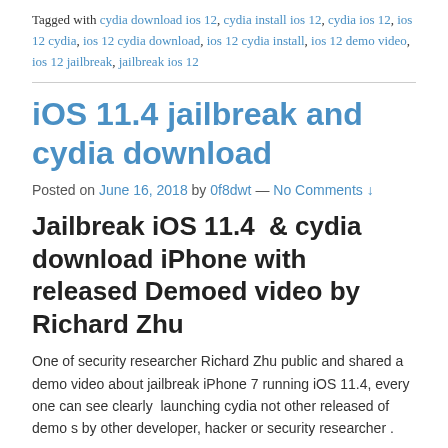Tagged with cydia download ios 12, cydia install ios 12, cydia ios 12, ios 12 cydia, ios 12 cydia download, ios 12 cydia install, ios 12 demo video, ios 12 jailbreak, jailbreak ios 12
iOS 11.4 jailbreak and cydia download
Posted on June 16, 2018 by 0f8dwt — No Comments ↓
Jailbreak iOS 11.4  & cydia download iPhone with released Demoed video by Richard Zhu
One of security researcher Richard Zhu public and shared a demo video about jailbreak iPhone 7 running iOS 11.4, every one can see clearly  launching cydia not other released of demo s by other developer, hacker or security researcher .